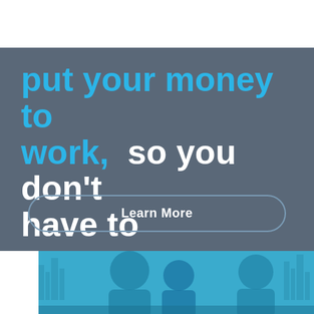put your money to work, so you don't have to
Learn More
[Figure (photo): Photo of smiling people (appears to be a family or group) with a blue color overlay and a city skyline in the background]